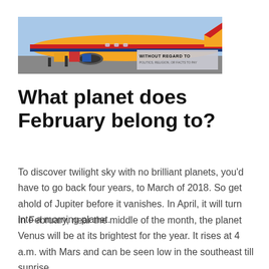[Figure (photo): Banner image showing cargo being loaded onto a colorful Southwest Airlines aircraft on a tarmac, with text overlay reading 'WITHOUT REGARD TO POLITICS, RELIGION, OR FACTS TO PAY']
What planet does February belong to?
To discover twilight sky with no brilliant planets, you'd have to go back four years, to March of 2018. So get ahold of Jupiter before it vanishes. In April, it will turn into a morning planet.
In February, near the middle of the month, the planet Venus will be at its brightest for the year. It rises at 4 a.m. with Mars and can be seen low in the southeast till sunrise.